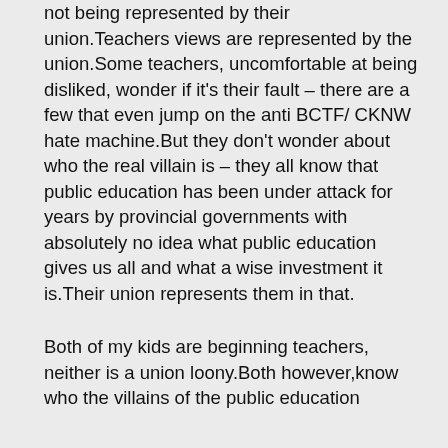not being represented by their union.Teachers views are represented by the union.Some teachers, uncomfortable at being disliked, wonder if it's their fault – there are a few that even jump on the anti BCTF/ CKNW hate machine.But they don't wonder about who the real villain is – they all know that public education has been under attack for years by provincial governments with absolutely no idea what public education gives us all and what a wise investment it is.Their union represents them in that.
Both of my kids are beginning teachers, neither is a union loony.Both however,know who the villains of the public education